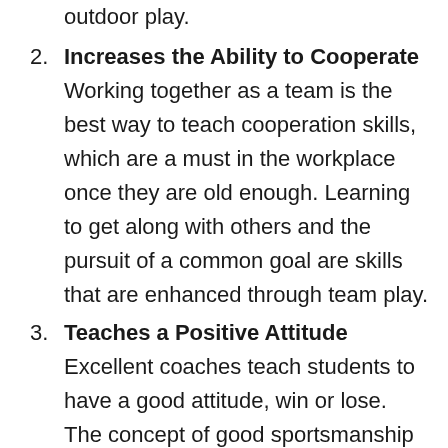child has adequate water to drink for indoor and outdoor play.
2. Increases the Ability to Cooperate
Working together as a team is the best way to teach cooperation skills, which are a must in the workplace once they are old enough. Learning to get along with others and the pursuit of a common goal are skills that are enhanced through team play.
3. Teaches a Positive Attitude
Excellent coaches teach students to have a good attitude, win or lose. The concept of good sportsmanship is important in all of life's activities.
4. Improves Social Skills
A child who is withdrawn or has difficulty making friends can learn to work with all kinds of other